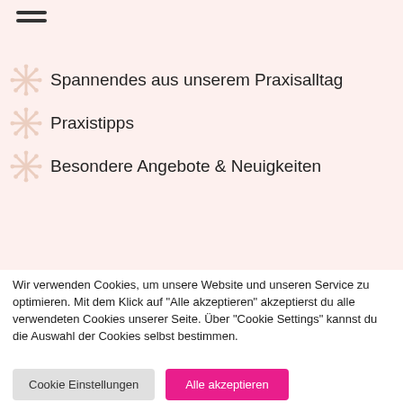Spannendes aus unserem Praxisalltag
Praxistipps
Besondere Angebote & Neuigkeiten
JETZT ANMELDEN
Wir verwenden Cookies, um unsere Website und unseren Service zu optimieren. Mit dem Klick auf "Alle akzeptieren" akzeptierst du alle verwendeten Cookies unserer Seite. Über "Cookie Settings" kannst du die Auswahl der Cookies selbst bestimmen.
Cookie Einstellungen
Alle akzeptieren